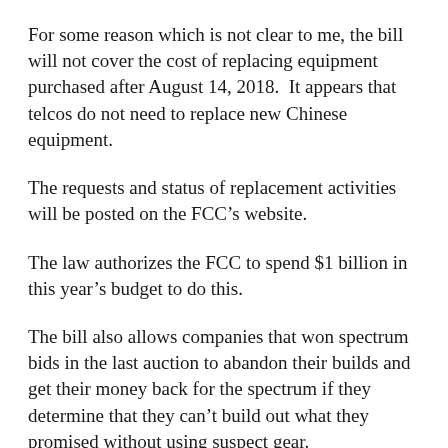For some reason which is not clear to me, the bill will not cover the cost of replacing equipment purchased after August 14, 2018.  It appears that telcos do not need to replace new Chinese equipment.
The requests and status of replacement activities will be posted on the FCC's website.
The law authorizes the FCC to spend $1 billion in this year's budget to do this.
The bill also allows companies that won spectrum bids in the last auction to abandon their builds and get their money back for the spectrum if they determine that they can't build out what they promised without using suspect gear.
It would also appear that if the telco buys or has bought Chinese gear without a government subsidy, they can continue